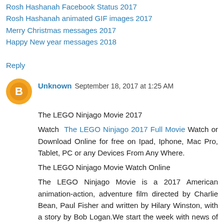Rosh Hashanah Facebook Status 2017
Rosh Hashanah animated GIF images 2017
Merry Christmas messages 2017
Happy New year messages 2018
Reply
Unknown  September 18, 2017 at 1:25 AM
The LEGO Ninjago Movie 2017
Watch The LEGO Ninjago 2017 Full Movie Watch or Download Online for free on Ipad, Iphone, Mac Pro, Tablet, PC or any Devices From Any Where.
The LEGO Ninjago Movie Watch Online
The LEGO Ninjago Movie is a 2017 American animation-action, adventure film directed by Charlie Bean, Paul Fisher and written by Hilary Winston, with a story by Bob Logan.We start the week with news of that genre that likes big boys. Yes, the animation! It is that Warner Bros